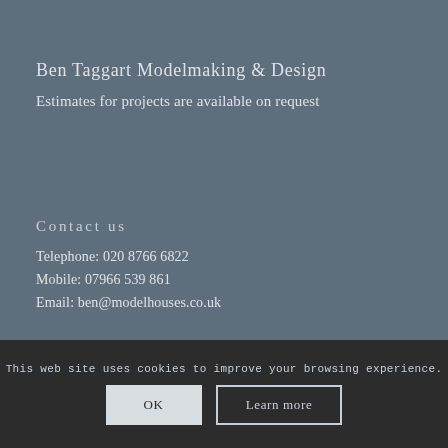Ben Taggart Modelmaking & Design
Estimates for projects are available on request
Contact us
Telephone: 020 8766 6822
Mobile: 07966 539 861
Email: ben@modelhouses.co.uk
This web site uses cookies to improve your browsing experience.